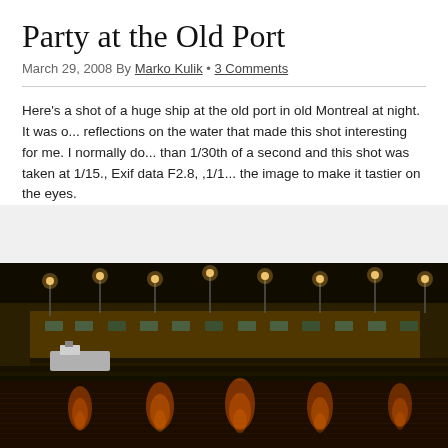Party at the Old Port
March 29, 2008 By Marko Kulik • 3 Comments
Here's a shot of a huge ship at the old port in old Montreal at night. It was o... reflections on the water that made this shot interesting for me. I normally do... than 1/30th of a second and this shot was taken at 1/15., Exif data F2.8, ,1/1... the image to make it tastier on the eyes.
[Figure (photo): Night photograph of a large ship/barge at the Old Port of Montreal, with orange light reflections shimmering on the dark water below. The ship's hull and port warehouse buildings are lit by rows of overhead orange lamps against a dark night sky.]